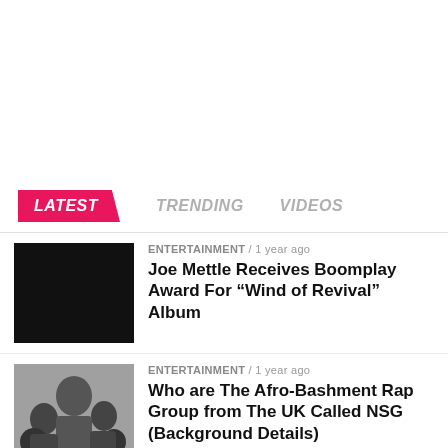LATEST / TRENDING / VIDEOS
[Figure (photo): Black thumbnail image for Joe Mettle article]
ENTERTAINMENT / 1 year ago
Joe Mettle Receives Boomplay Award For “Wind of Revival” Album
[Figure (photo): Black and white group photo of Afro-Bashment rap group NSG]
ENTERTAINMENT / 1 year ago
Who are The Afro-Bashment Rap Group from The UK Called NSG (Background Details)
[Figure (photo): Partially visible blue thumbnail of third article]
ENTERTAINMENT / 1 year ago
SHARE   TWEET   ...